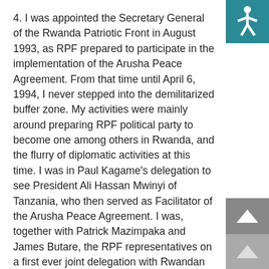4. I was appointed the Secretary General of the Rwanda Patriotic Front in August 1993, as RPF prepared to participate in the implementation of the Arusha Peace Agreement. From that time until April 6, 1994, I never stepped into the demilitarized buffer zone. My activities were mainly around preparing RPF political party to become one among others in Rwanda, and the flurry of diplomatic activities at this time. I was in Paul Kagame's delegation to see President Ali Hassan Mwinyi of Tanzania, who then served as Facilitator of the Arusha Peace Agreement. I was, together with Patrick Mazimpaka and James Butare, the RPF representatives on a first ever joint delegation with Rwandan officials ( including Foreign Minister Anastaze Gasana ) which travelled to New York to meet then UN Secretary General Boutros-Ghali to seek expeditious deployment of the UN Peacekeepers. When Paul Kagame ordered the shooting down of the plane carrying President Habyarimana and President